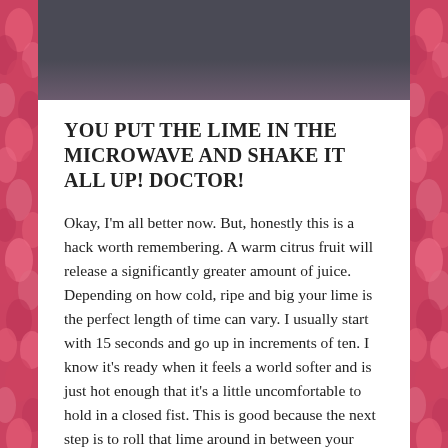[Figure (photo): Dark-toned photograph at top of page, partially visible, showing a dark background scene.]
YOU PUT THE LIME IN THE MICROWAVE AND SHAKE IT ALL UP! DOCTOR!
Okay, I'm all better now. But, honestly this is a hack worth remembering. A warm citrus fruit will release a significantly greater amount of juice. Depending on how cold, ripe and big your lime is the perfect length of time can vary. I usually start with 15 seconds and go up in increments of ten. I know it's ready when it feels a world softer and is just hot enough that it's a little uncomfortable to hold in a closed fist. This is good because the next step is to roll that lime around in between your palms pressing gently, this releases the juices even further. For a larger fruit, like grapefruit, it